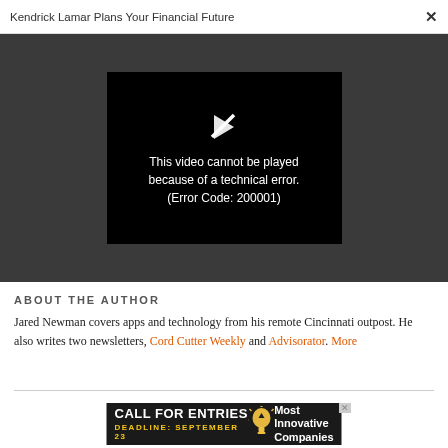Kendrick Lamar Plans Your Financial Future  ×
[Figure (screenshot): Video player showing error message: 'This video cannot be played because of a technical error. (Error Code: 200001)' on a black background within a dark gray container area.]
ABOUT THE AUTHOR
Jared Newman covers apps and technology from his remote Cincinnati outpost. He also writes two newsletters, Cord Cutter Weekly and Advisorator. More
[Figure (screenshot): Advertisement banner: 'CALL FOR ENTRIES DEADLINE: SEPTEMBER 23' with lightbulb icon and text 'Most Innovative Companies' on dark background.]